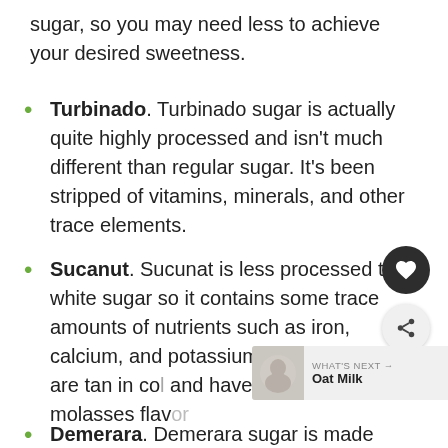sugar, so you may need less to achieve your desired sweetness.
Turbinado. Turbinado sugar is actually quite highly processed and isn't much different than regular sugar. It's been stripped of vitamins, minerals, and other trace elements.
Sucanut. Sucunat is less processed than white sugar so it contains some trace amounts of nutrients such as iron, calcium, and potassium. The granules are tan in co... and have a delicious molasses flav...
Demerara. Demerara sugar is made from